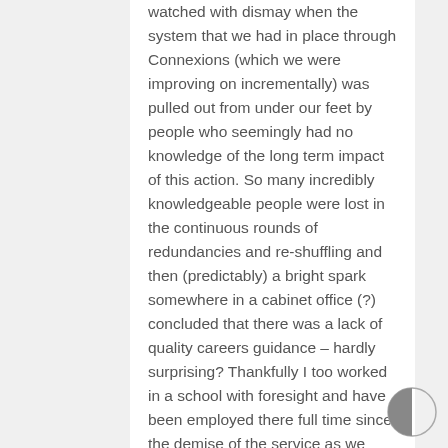watched with dismay when the system that we had in place through Connexions (which we were improving on incrementally) was pulled out from under our feet by people who seemingly had no knowledge of the long term impact of this action. So many incredibly knowledgeable people were lost in the continuous rounds of redundancies and re-shuffling and then (predictably) a bright spark somewhere in a cabinet office (?) concluded that there was a lack of quality careers guidance – hardly surprising? Thankfully I too worked in a school with foresight and have been employed there full time since the demise of the service as we knew it. I know exactly where all my pupils are